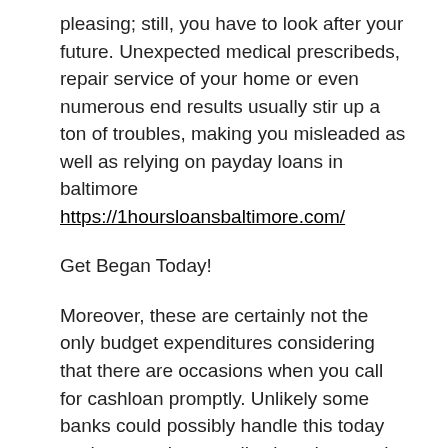pleasing; still, you have to look after your future. Unexpected medical prescribeds, repair service of your home or even numerous end results usually stir up a ton of troubles, making you misleaded as well as relying on payday loans in baltimore https://1hoursloansbaltimore.com/
Get Began Today!
Moreover, these are certainly not the only budget expenditures considering that there are occasions when you call for cashloan promptly. Unlikely some banks could possibly handle this today as they may be actually closed or require time for giving cash.
A complete list of suchintents, indicating that you really feel need in financial support at the moment is actually somewhat uncertain. Besides, all these unexpected